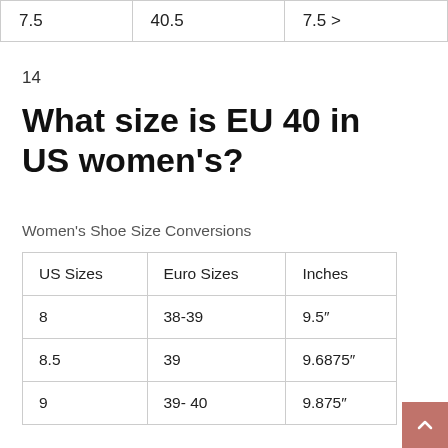| 7.5 | 40.5 | 7.5 > |
14
What size is EU 40 in US women’s?
Women’s Shoe Size Conversions
| US Sizes | Euro Sizes | Inches |
| --- | --- | --- |
| 8 | 38-39 | 9.5″ |
| 8.5 | 39 | 9.6875″ |
| 9 | 39- 40 | 9.875″ |